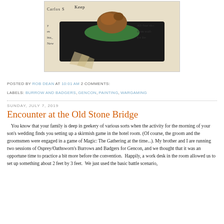[Figure (photo): Close-up photo of a painted miniature figure (animal-like creature on a green base) sitting on newspaper/printed text background. The newspaper text is partially visible including words like 'Carlos', 'Keep All-Star', 'from wall', 'for free', 'New'.]
POSTED BY ROB DEAN AT 10:01 AM  2 COMMENTS:
LABELS: BURROW AND BADGERS, GENCON, PAINTING, WARGAMING
SUNDAY, JULY 7, 2019
Encounter at the Old Stone Bridge
You know that your family is deep in geekery of various sorts when the activity for the morning of your son's wedding finds you setting up a skirmish game in the hotel room. (Of course, the groom and the groomsmen were engaged in a game of Magic: The Gathering at the time...). My brother and I are running two sessions of Osprey/Oathsworn's Burrows and Badgers for Gencon, and we thought that it was an opportune time to practice a bit more before the convention.  Happily, a work desk in the room allowed us to set up something about 2 feet by 3 feet.  We just used the basic battle scenario,